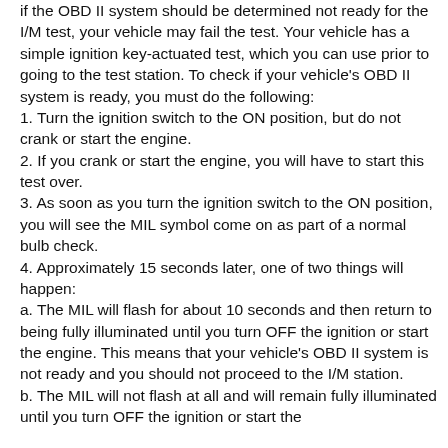if the OBD II system should be determined not ready for the I/M test, your vehicle may fail the test. Your vehicle has a simple ignition key-actuated test, which you can use prior to going to the test station. To check if your vehicle's OBD II system is ready, you must do the following:
1. Turn the ignition switch to the ON position, but do not crank or start the engine.
2. If you crank or start the engine, you will have to start this test over.
3. As soon as you turn the ignition switch to the ON position, you will see the MIL symbol come on as part of a normal bulb check.
4. Approximately 15 seconds later, one of two things will happen:
a. The MIL will flash for about 10 seconds and then return to being fully illuminated until you turn OFF the ignition or start the engine. This means that your vehicle's OBD II system is not ready and you should not proceed to the I/M station.
b. The MIL will not flash at all and will remain fully illuminated until you turn OFF the ignition or start the